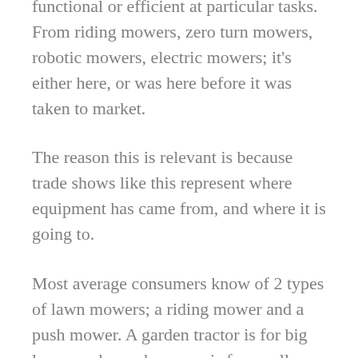functional or efficient at particular tasks. From riding mowers, zero turn mowers, robotic mowers, electric mowers; it's either here, or was here before it was taken to market.
The reason this is relevant is because trade shows like this represent where equipment has came from, and where it is going to.
Most average consumers know of 2 types of lawn mowers; a riding mower and a push mower. A garden tractor is for big lawns and a push mower is for small ones. This is an incredibly naive view when considering the proper mower for a given lot or group or properties.